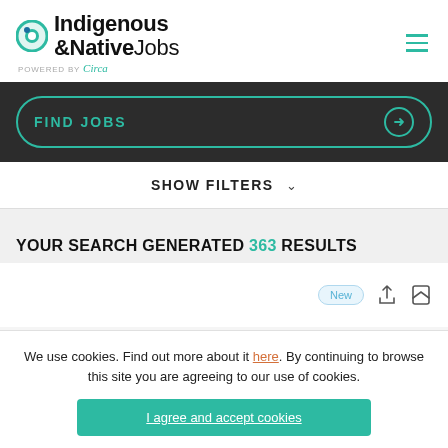[Figure (logo): Indigenous &NativeJobs logo with circular teal icon, powered by Circa]
[Figure (screenshot): FIND JOBS search button with teal outline and arrow]
SHOW FILTERS
YOUR SEARCH GENERATED 363 RESULTS
[Figure (screenshot): Job card badges: New badge, share icon, bookmark icon]
We use cookies. Find out more about it here. By continuing to browse this site you are agreeing to our use of cookies.
I agree and accept cookies